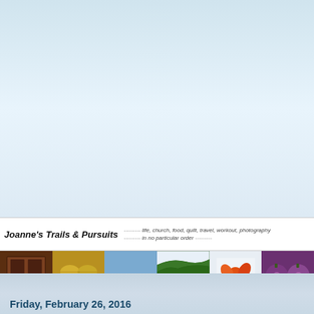[Figure (photo): Blog header area with large light blue/white gradient background]
Joanne's Trails & Pursuits --------- life, church, food, quilt, travel, workout, photography --------- in no particular order ---------
[Figure (photo): Photo strip banner showing six photos: wooden door, yellow bread rolls, blue boats on water, green tea plantation hills, flower embroidery, purple mangosteen fruits]
Friday, February 26, 2016